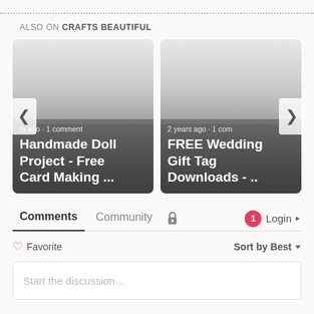ALSO ON CRAFTS BEAUTIFUL
[Figure (screenshot): Carousel card: Handmade Doll Project - Free Card Making ... (rs ago · 1 comment)]
[Figure (screenshot): Carousel card: FREE Wedding Gift Tag Downloads - .. (2 years ago · 1 com)]
Comments | Community | (lock icon) | 1 | Login
♡ Favorite    Sort by Best
Start the discussion…